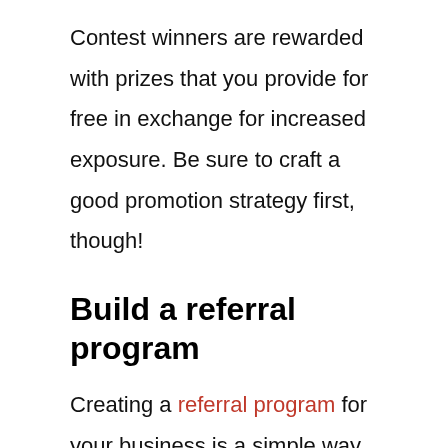Contest winners are rewarded with prizes that you provide for free in exchange for increased exposure. Be sure to craft a good promotion strategy first, though!
Build a referral program
Creating a referral program for your business is a simple way to generate more sales without spending an extra penny. Plus, referrals also let customers do some of your marketing work for you!
Create a referral program by rewarding those who